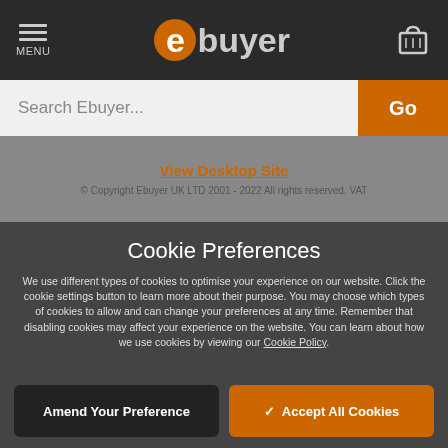MENU | ebuyer
Search Ebuyer...
View Desktop Site
© Copyright Ebuyer UK LTD 2001 - 2022 All rights reserved. VAT
Cookie Preferences
We use different types of cookies to optimise your experience on our website. Click the cookie settings button to learn more about their purpose. You may choose which types of cookies to allow and can change your preferences at any time. Remember that disabling cookies may affect your experience on the website. You can learn about how we use cookies by viewing our Cookie Policy.
Amend Your Preference
Accept All Cookies